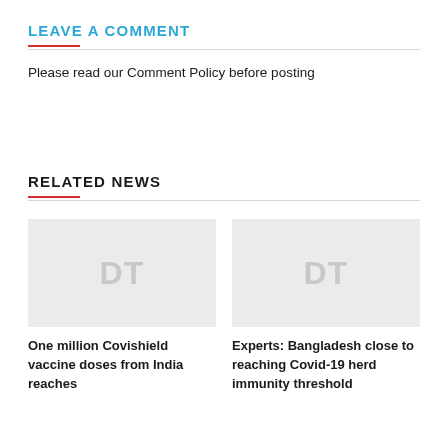LEAVE A COMMENT
Please read our Comment Policy before posting
RELATED NEWS
[Figure (other): Placeholder image with DT watermark for article: One million Covishield vaccine doses from India reaches]
One million Covishield vaccine doses from India reaches
[Figure (other): Placeholder image with DT watermark for article: Experts: Bangladesh close to reaching Covid-19 herd immunity threshold]
Experts: Bangladesh close to reaching Covid-19 herd immunity threshold